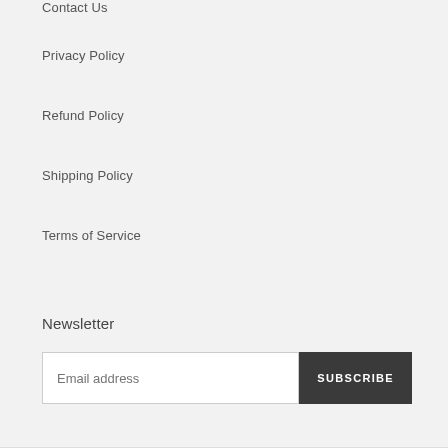Contact Us
Privacy Policy
Refund Policy
Shipping Policy
Terms of Service
Newsletter
Email address
SUBSCRIBE